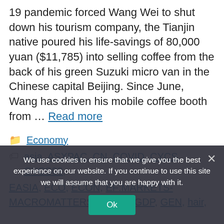19 pandemic forced Wang Wei to shut down his tourism company, the Tianjin native poured his life-savings of 80,000 yuan ($11,785) into selling coffee from the back of his green Suzuki micro van in the Chinese capital Beijing. Since June, Wang has driven his mobile coffee booth from … Read more
Economy
asia, ASXPAC, CN, COVID, CYCS, CYCS08, EASIA, ECO, ECON, EF:MARKETS-MACROMATTERS, EMRG, GDP, GEN, hair,
We use cookies to ensure that we give you the best experience on our website. If you continue to use this site we will assume that you are happy with it.